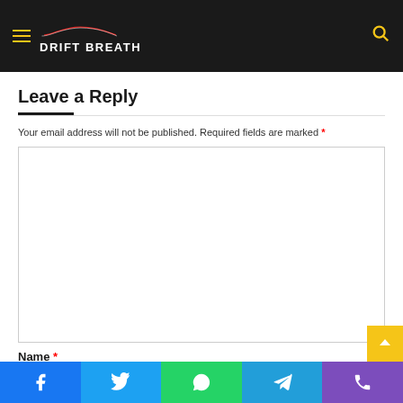DRIFT BREATH — navigation header with logo and search icon
Leave a Reply
Your email address will not be published. Required fields are marked *
[Figure (screenshot): Large empty comment text area input box]
Name *
[Figure (infographic): Social share bar with Facebook, Twitter, WhatsApp, Telegram, and Phone icons]